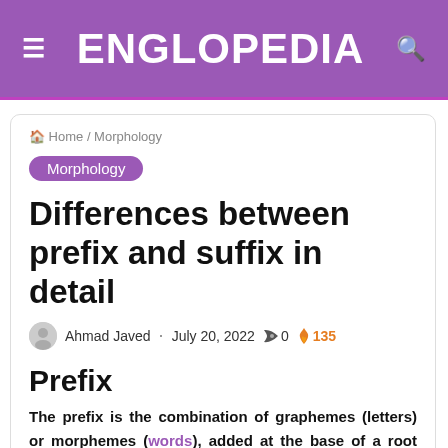ENGLOPEDIA
Home / Morphology
Morphology
Differences between prefix and suffix in detail
Ahmad Javed · July 20, 2022 · 0 · 135
Prefix
The prefix is the combination of graphemes (letters) or morphemes (words), added at the base of a root word,